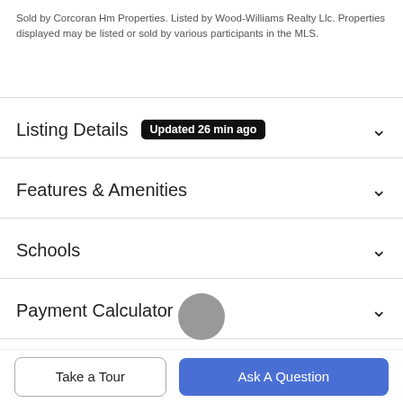Sold by Corcoran Hm Properties. Listed by Wood-Williams Realty Llc. Properties displayed may be listed or sold by various participants in the MLS.
Listing Details
Features & Amenities
Schools
Payment Calculator
Contact Agent
Take a Tour
Ask A Question